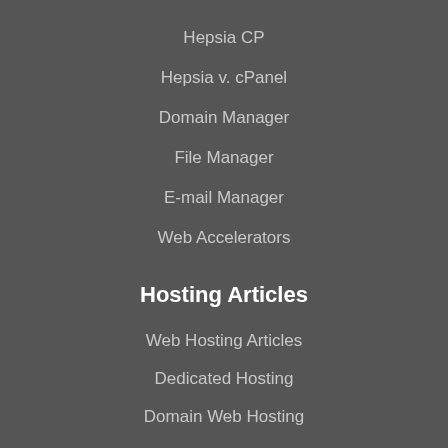Hepsia CP
Hepsia v. cPanel
Domain Manager
File Manager
E-mail Manager
Web Accelerators
Hosting Articles
Web Hosting Articles
Dedicated Hosting
Domain Web Hosting
VPS Hosting
Web Hosting